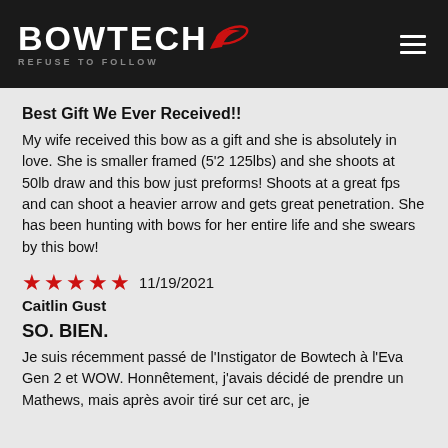BOWTECH — REFUSE TO FOLLOW
Best Gift We Ever Received!!
My wife received this bow as a gift and she is absolutely in love. She is smaller framed (5'2 125lbs) and she shoots at 50lb draw and this bow just preforms! Shoots at a great fps and can shoot a heavier arrow and gets great penetration. She has been hunting with bows for her entire life and she swears by this bow!
★★★★★ 11/19/2021
Caitlin Gust
SO. BIEN.
Je suis récemment passé de l'Instigator de Bowtech à l'Eva Gen 2 et WOW. Honnêtement, j'avais décidé de prendre un Mathews, mais après avoir tiré sur cet arc, je